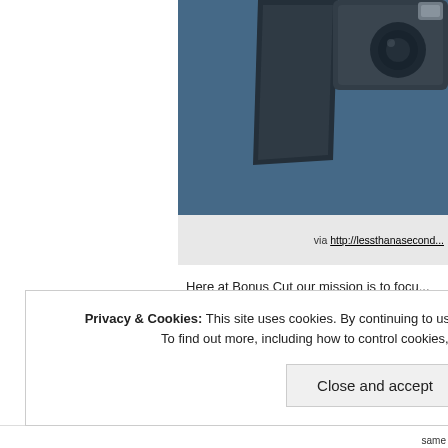[Figure (photo): Photo of a smartphone and camera on a blue textile surface, partially visible, cropped at edges]
via http://lessthanasecond...
Here at Bonus Cut our mission is to focus on independent artists making a difference o... love. We have stressed time and time ag... never will be, but there are still instances... ignored.
Privacy & Cookies: This site uses cookies. By continuing to use this website, you agree to their use. To find out more, including how to control cookies, see here: Cookie Policy
Close and accept
same